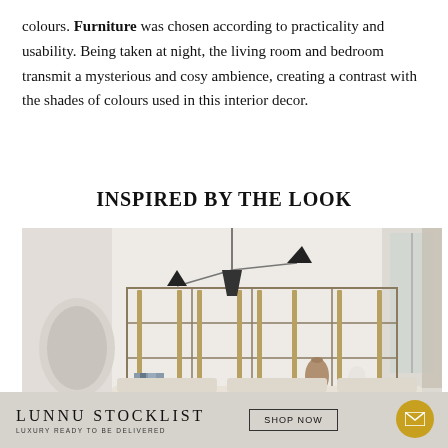colours. Furniture was chosen according to practicality and usability. Being taken at night, the living room and bedroom transmit a mysterious and cosy ambience, creating a contrast with the shades of colours used in this interior decor.
INSPIRED BY THE LOOK
[Figure (photo): Interior design photo showing a modern living room with a metal shelving unit, pendant lamp with black cone shades, and a light cream sofa in front of the shelves. Neutral tones with arch detail on the left wall and large window on the right.]
LUNNU STOCKLIST LUXURY READY TO BE DELIVERED  SHOP NOW